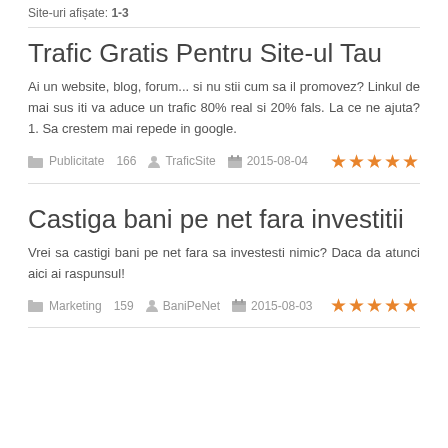Site-uri afișate: 1-3
Trafic Gratis Pentru Site-ul Tau
Ai un website, blog, forum... si nu stii cum sa il promovez? Linkul de mai sus iti va aduce un trafic 80% real si 20% fals. La ce ne ajuta? 1. Sa crestem mai repede in google.
Publicitate  166  TraficSite  2015-08-04  ★★★★★
Castiga bani pe net fara investitii
Vrei sa castigi bani pe net fara sa investesti nimic? Daca da atunci aici ai raspunsul!
Marketing  159  BaniPeNet  2015-08-03  ★★★★★